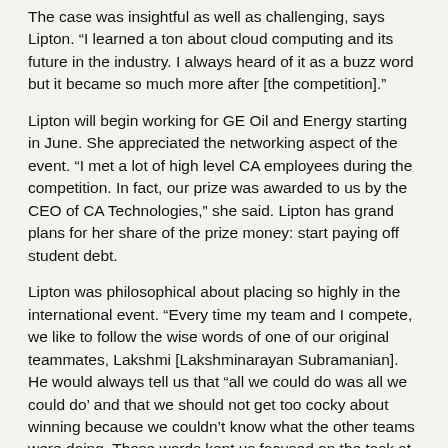The case was insightful as well as challenging, says Lipton. “I learned a ton about cloud computing and its future in the industry. I always heard of it as a buzz word but it became so much more after [the competition].”
Lipton will begin working for GE Oil and Energy starting in June. She appreciated the networking aspect of the event. “I met a lot of high level CA employees during the competition. In fact, our prize was awarded to us by the CEO of CA Technologies,” she said. Lipton has grand plans for her share of the prize money: start paying off student debt.
Lipton was philosophical about placing so highly in the international event. “Every time my team and I compete, we like to follow the wise words of one of our original teammates, Lakshmi [Lakshminarayan Subramanian]. He would always tell us that “all we could do was all we could do’ and that we should not get too cocky about winning because we couldn’t know what the other teams were doing. Those words kept us focused on the task at hand, even though Lakshmi couldn’t complete with us. When we made it all the way to second place we were totally surprised and very happy.”